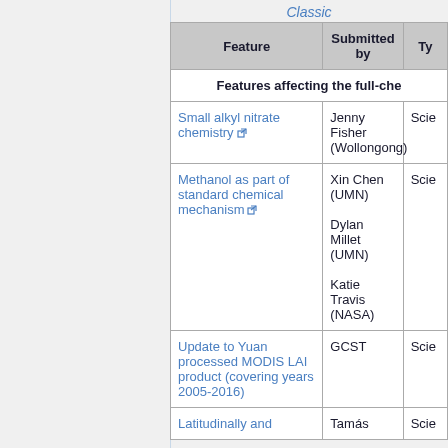Classic
| Feature | Submitted by | Type |
| --- | --- | --- |
| Features affecting the full-chem… |  |  |
| Small alkyl nitrate chemistry [ext] | Jenny Fisher (Wollongong) | Scie… |
| Methanol as part of standard chemical mechanism [ext] | Xin Chen (UMN)
Dylan Millet (UMN)
Katie Travis (NASA) | Scie… |
| Update to Yuan processed MODIS LAI product (covering years 2005-2016) | GCST | Scie… |
| Latitudinally and… | Tamás… | Scie… |